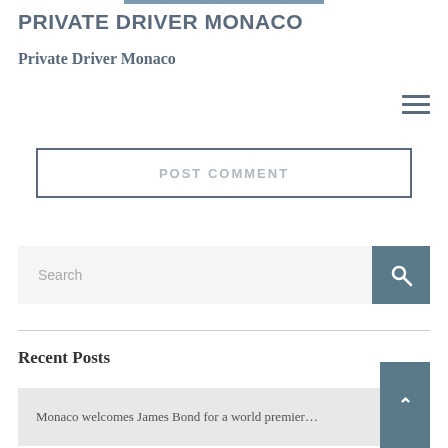PRIVATE DRIVER MONACO
Private Driver Monaco
POST COMMENT
Search
Recent Posts
Monaco welcomes James Bond for a world premier…